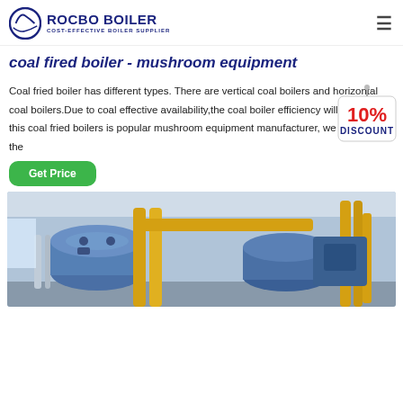ROCBO BOILER — COST-EFFECTIVE BOILER SUPPLIER
coal fired boiler - mushroom equipment
Coal fried boiler has different types. There are vertical coal boilers and horizontal coal boilers.Due to coal effective availability,the coal boiler efficiency will be low,but this coal fried boilers is popular mushroom equipment manufacturer, we can supply the
[Figure (other): 10% DISCOUNT badge overlay]
[Figure (photo): Industrial boiler room with blue cylindrical boilers and yellow pipes]